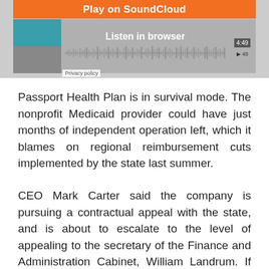[Figure (screenshot): SoundCloud embedded audio player widget showing 'Play on SoundCloud' orange button, 'Listen in browser' option, waveform visualization, time 4:49, play button, count 48, and Privacy policy text]
Passport Health Plan is in survival mode. The nonprofit Medicaid provider could have just months of independent operation left, which it blames on regional reimbursement cuts implemented by the state last summer.
CEO Mark Carter said the company is pursuing a contractual appeal with the state, and is about to escalate to the level of appealing to the secretary of the Finance and Administration Cabinet, William Landrum. If Landrum's decision doesn't go Passport's way, the next step would be appealing to Franklin Circuit Court.